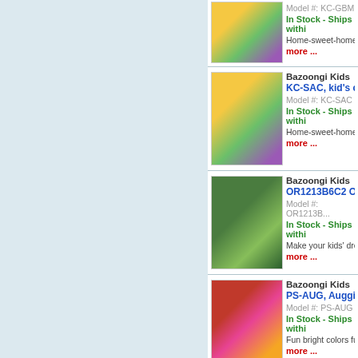[Figure (photo): Product image of Bazoongi Kids cottage playhouse with children around it (top, partially visible)]
Model #: KC-GBM
In Stock - Ships withi...
Home-sweet-home w...
more ...
[Figure (photo): Product image of Bazoongi Kids KC-SAC kid's cottage playhouse with children]
Bazoongi Kids
KC-SAC, kid's cot...
Model #: KC-SAC
In Stock - Ships withi...
Home-sweet-home w...
more ...
[Figure (photo): Product image of Bazoongi Kids OR1213B6C2 trampoline with safety net outdoors]
Bazoongi Kids
OR1213B6C2 ORB...
Model #: OR1213B...
In Stock - Ships withi...
Make your kids' drea...
more ...
[Figure (photo): Product image of Bazoongi Kids PS-AUG Auggie ladybug play tent with children]
Bazoongi Kids
PS-AUG, Auggie G...
Model #: PS-AUG
In Stock - Ships withi...
Fun bright colors fue...
more ...
[Figure (photo): Product image of Bazoongi Kids PS-BUG Bug House play tent with children]
Bazoongi Kids
PS-BUG Bug Hou...
Model #: PS-BUG
In Stock - Ships withi...